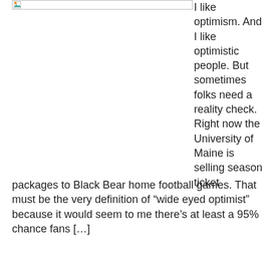[Figure (other): Small image placeholder icon in top-left area with a border]
I like optimism. And I like optimistic people. But sometimes folks need a reality check. Right now the University of Maine is selling season ticket packages to Black Bear home football games. That must be the very definition of “wide eyed optimist” because it would seem to me there’s at least a 95% chance fans […]